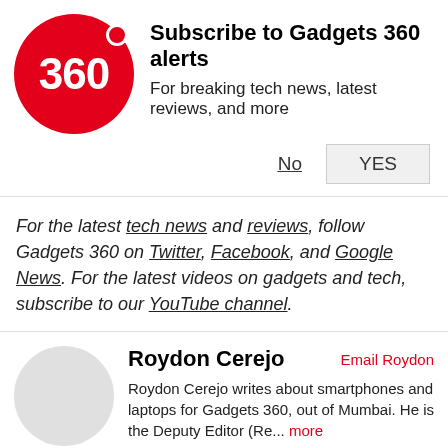[Figure (logo): Gadgets 360 red circle logo with white 360 text]
Subscribe to Gadgets 360 alerts
For breaking tech news, latest reviews, and more
No  YES
For the latest tech news and reviews, follow Gadgets 360 on Twitter, Facebook, and Google News. For the latest videos on gadgets and tech, subscribe to our YouTube channel.
Roydon Cerejo  Email Roydon
Roydon Cerejo writes about smartphones and laptops for Gadgets 360, out of Mumbai. He is the Deputy Editor (Re... more
Featured